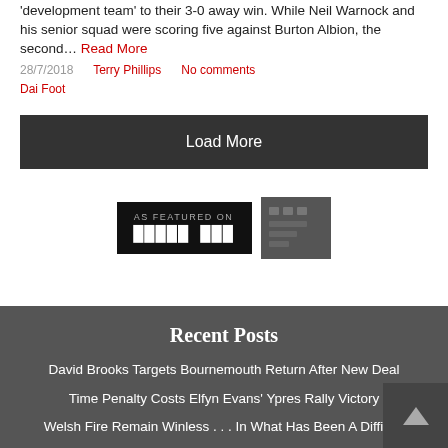'development team' to their 3-0 away win. While Neil Warnock and his senior squad were scoring five against Burton Albion, the second... Read More
28/7/2018   Terry Phillips   No comments   Dai Foot
Load More
[Figure (logo): AS FEATURED ON News Now badge with pixelated logo text on dark background]
Recent Posts
David Brooks Targets Bournemouth Return After New Deal
Time Penalty Costs Elfyn Evans' Ypres Rally Victory
Welsh Fire Remain Winless . . . In What Has Been A Difficult Start To The...